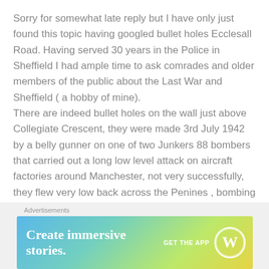Sorry for somewhat late reply but I have only just found this topic having googled bullet holes Ecclesall Road. Having served 30 years in the Police in Sheffield I had ample time to ask comrades and older members of the public about the Last War and Sheffield ( a hobby of mine).
There are indeed bullet holes on the wall just above Collegiate Crescent, they were made 3rd July 1942 by a belly gunner on one of two Junkers 88 bombers that carried out a long low level attack on aircraft factories around Manchester, not very successfully, they flew very low back across the Penines , bombing a quarry at Stony Middleton, also strafing Chatsworth
Advertisements
[Figure (infographic): WordPress advertisement banner with gradient background (blue to green to yellow). Text reads 'Create immersive stories.' with 'GET THE APP' and WordPress logo on the right.]